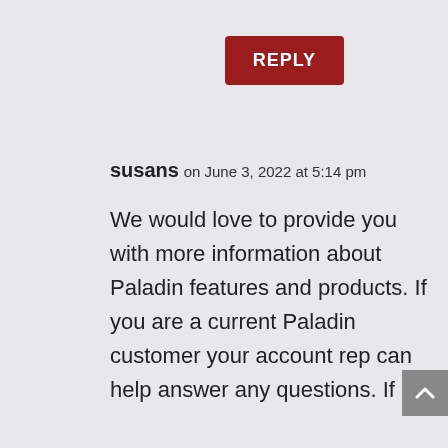[Figure (other): Red REPLY button]
susans on June 3, 2022 at 5:14 pm
We would love to provide you with more information about Paladin features and products. If you are a current Paladin customer your account rep can help answer any questions. If
[Figure (other): Gray scroll-to-top button with caret/arrow icon]